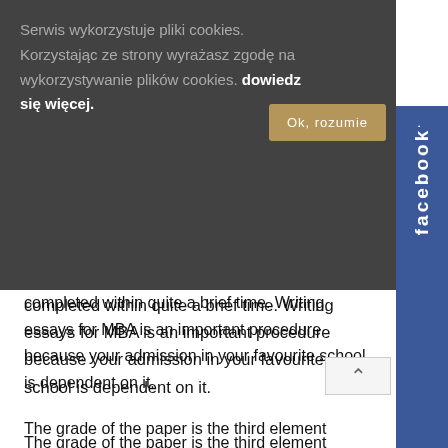Serwis wykorzystuje pliki cookies. Korzystając ze strony wyrażasz zgodę na wykorzystywanie plików cookies. dowiedz się więcej.
Ok, rozumie
[Figure (other): Facebook side tab button]
completed within quite a brief time. Writing essays for MBA is an important procedure because your admission in your favourite school is dependent on it.
The grade of the paper is the third element which will influence your choice. You will get the very best paper created in accordance with your requirements. Then the previous step to buying a paper will be a simple payment procedure.
Ergo, in case you ought to be a service provider the hire people to tell the pupils all around the globe what you do and also how you do. On-line merchandise and services are extremely favorable for that kind of